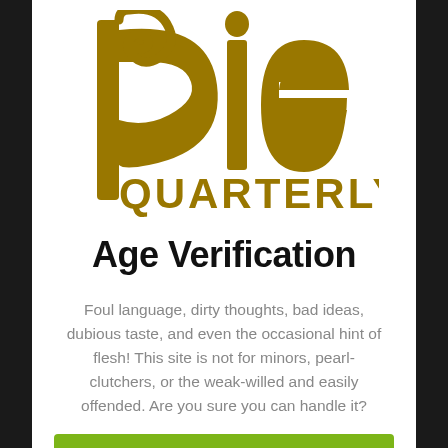[Figure (logo): Pie Quarterly logo in gold/dark yellow Art Nouveau style lettering, with a large decorative 'p' with a spiral curl and lowercase 'ie' followed by 'QUARTERLY' in stylized caps]
Age Verification
Foul language, dirty thoughts, bad ideas, dubious taste, and even the occasional hint of flesh! This site is not for minors, pearl-clutchers, or the weak-willed and easily offended. Are you sure you can handle it?